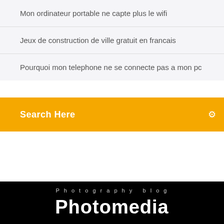Mon ordinateur portable ne capte plus le wifi
Jeux de construction de ville gratuit en francais
Pourquoi mon telephone ne se connecte pas a mon pc
Search Here
Photography blog
Photomedia